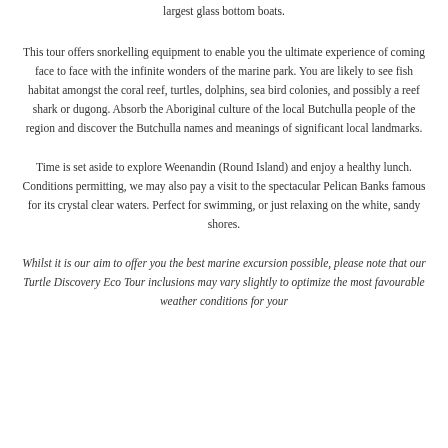largest glass bottom boats.
This tour offers snorkelling equipment to enable you the ultimate experience of coming face to face with the infinite wonders of the marine park. You are likely to see fish habitat amongst the coral reef, turtles, dolphins, sea bird colonies, and possibly a reef shark or dugong. Absorb the Aboriginal culture of the local Butchulla people of the region and discover the Butchulla names and meanings of significant local landmarks.
Time is set aside to explore Weenandin (Round Island) and enjoy a healthy lunch. Conditions permitting, we may also pay a visit to the spectacular Pelican Banks famous for its crystal clear waters. Perfect for swimming, or just relaxing on the white, sandy shores.
Whilst it is our aim to offer you the best marine excursion possible, please note that our Turtle Discovery Eco Tour inclusions may vary slightly to optimize the most favourable weather conditions for your